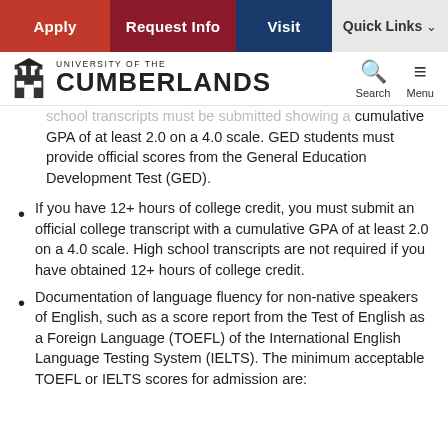Apply | Request Info | Visit | Quick Links
UNIVERSITY OF THE CUMBERLANDS — Search Menu
school transcripts must be submitted showing a cumulative GPA of at least 2.0 on a 4.0 scale. GED students must provide official scores from the General Education Development Test (GED).
If you have 12+ hours of college credit, you must submit an official college transcript with a cumulative GPA of at least 2.0 on a 4.0 scale. High school transcripts are not required if you have obtained 12+ hours of college credit.
Documentation of language fluency for non-native speakers of English, such as a score report from the Test of English as a Foreign Language (TOEFL) of the International English Language Testing System (IELTS). The minimum acceptable TOEFL or IELTS scores for admission are: